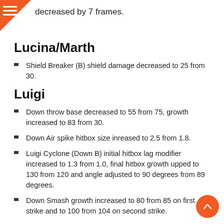decreased by 7 frames.
Lucina/Marth
Shield Breaker (B) shield damage decreased to 25 from 30.
Luigi
Down throw base decreased to 55 from 75, growth increased to 83 from 30.
Down Air spike hitbox size inreased to 2.5 from 1.8.
Luigi Cyclone (Down B) initial hitbox lag modifier increased to 1.3 from 1.0, final hitbox growth upped to 130 from 120 and angle adjusted to 90 degrees from 89 degrees.
Down Smash growth increased to 80 from 85 on first strike and to 100 from 104 on second strike.